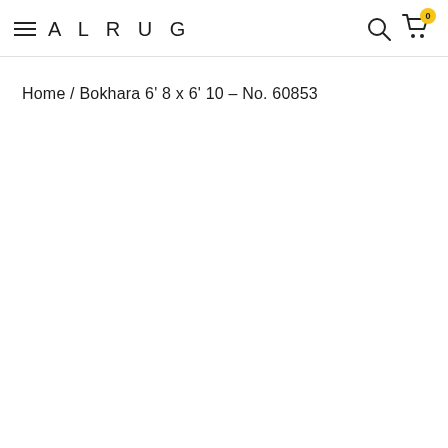ALRUG
Home / Bokhara 6' 8 x 6' 10 – No. 60853